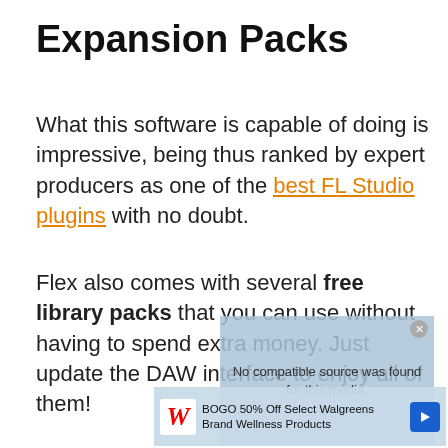Expansion Packs
What this software is capable of doing is impressive, being thus ranked by expert producers as one of the best FL Studio plugins with no doubt.
Flex also comes with several free library packs that you can use without having to spend extra money. Just update the DAW interface to enjoy all of them!
[Figure (screenshot): Ad overlay showing 'No compatible source was found for this media.' with a Walgreens BOGO 50% Off advertisement banner below.]